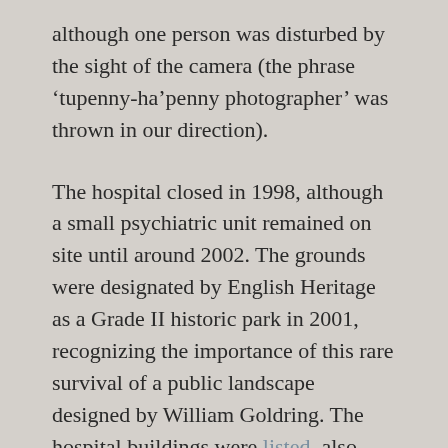although one person was disturbed by the sight of the camera (the phrase ‘tupenny-ha’penny photographer’ was thrown in our direction).
The hospital closed in 1998, although a small psychiatric unit remained on site until around 2002. The grounds were designated by English Heritage as a Grade II historic park in 2001, recognizing the importance of this rare survival of a public landscape designed by William Goldring. The hospital buildings were listed, also Grade II, in 1998. Great Nicholas recognised the site in